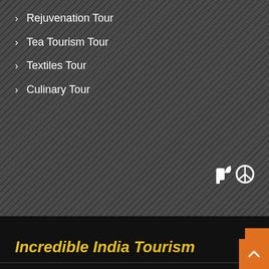> Rejuvenation Tour
> Tea Tourism Tour
> Textiles Tour
> Culinary Tour
Incredible India Tourism
> Incredible India
> Indian Culture
> India Travel Guide
> History of India
> Festivals in India
> Holy River in India
> Indian Art
> Best Time to Visit India